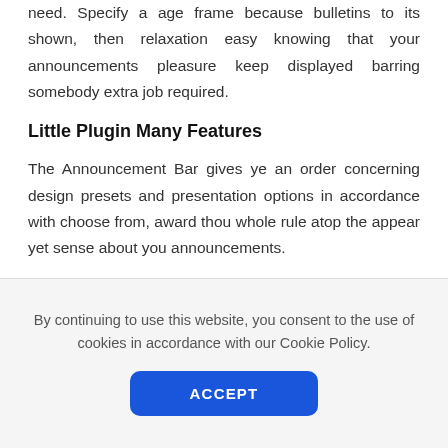need. Specify a age frame because bulletins to its shown, then relaxation easy knowing that your announcements pleasure keep displayed barring somebody extra job required.
Little Plugin Many Features
The Announcement Bar gives ye an order concerning design presets and presentation options in accordance with choose from, award thou whole rule atop the appear yet sense about you announcements.
TEXT ALIGNMENT
Left
By continuing to use this website, you consent to the use of cookies in accordance with our Cookie Policy.